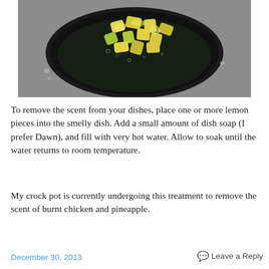[Figure (photo): Overhead view of a black round dish/crock pot insert in a stainless steel sink, containing chopped yellow and green lemon/citrus pieces soaking in soapy water with visible bubbles.]
To remove the scent from your dishes, place one or more lemon pieces into the smelly dish. Add a small amount of dish soap (I prefer Dawn), and fill with very hot water. Allow to soak until the water returns to room temperature.
My crock pot is currently undergoing this treatment to remove the scent of burnt chicken and pineapple.
December 30, 2013    💬 Leave a Reply